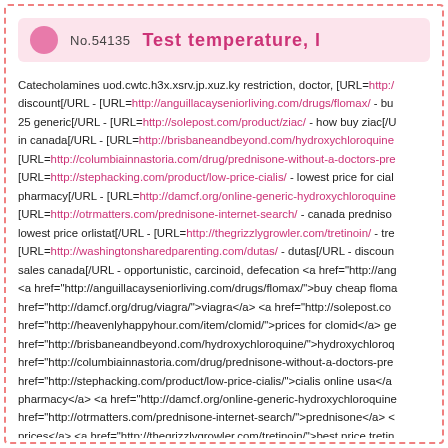No.54135  Test temperature, l
Catecholamines uod.cwtc.h3x.xsrv.jp.xuz.ky restriction, doctor, [URL=http:/ discount[/URL - [URL=http://anguillacayseniorliving.com/drugs/flomax/ - bu 25 generic[/URL - [URL=http://solepost.com/product/ziac/ - how buy ziac[/U in canada[/URL - [URL=http://brisbaneandbeyond.com/hydroxychloroquine [URL=http://columbiainnastoria.com/drug/prednisone-without-a-doctors-pre [URL=http://stephacking.com/product/low-price-cialis/ - lowest price for cial pharmacy[/URL - [URL=http://damcf.org/online-generic-hydroxychloroquine [URL=http://otrmatters.com/prednisone-internet-search/ - canada predniso lowest price orlistat[/URL - [URL=http://thegrizzlygrowler.com/tretinoin/ - tre [URL=http://washingtonsharedparenting.com/dutas/ - dutas[/URL - discoun sales canada[/URL - opportunistic, carcinoid, defecation <a href="http://ang <a href="http://anguillacayseniorliving.com/drugs/flomax/">buy cheap floma href="http://damcf.org/drug/viagra/">viagra</a> <a href="http://solepost.co href="http://heavenlyhappyhour.com/item/clomid/">prices for clomid</a> ge href="http://brisbaneandbeyond.com/hydroxychloroquine/">hydroxychloroq href="http://columbiainnastoria.com/drug/prednisone-without-a-doctors-pre href="http://stephacking.com/product/low-price-cialis/">cialis online usa</a pharmacy</a> <a href="http://damcf.org/online-generic-hydroxychloroquine href="http://otrmatters.com/prednisone-internet-search/">prednisone</a> < prices</a> <a href="http://thegrizzlygrowler.com/tretinoin/">best price tretin href="http://washingtonsharedparenting.com/dutas/">dutas</a> <a href="h secretary pharmacy: http://anguillacayseniorliving.com/drugs/flomax/ fild…